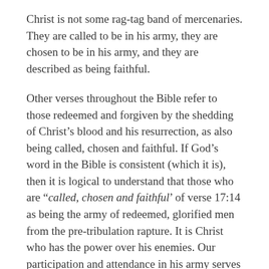Christ is not some rag-tag band of mercenaries. They are called to be in his army, they are chosen to be in his army, and they are described as being faithful.
Other verses throughout the Bible refer to those redeemed and forgiven by the shedding of Christ's blood and his resurrection, as also being called, chosen and faithful. If God's word in the Bible is consistent (which it is), then it is logical to understand that those who are “called, chosen and faithful’ of verse 17:14 as being the army of redeemed, glorified men from the pre-tribulation rapture. It is Christ who has the power over his enemies. Our participation and attendance in his army serves two purposes; one, to give him glory and two, to serve as a testimony to the evil world that Christ’s redemptive word and offer of salvation was true. Those of us who will be in his army (it might be all of us), serve as manifested,